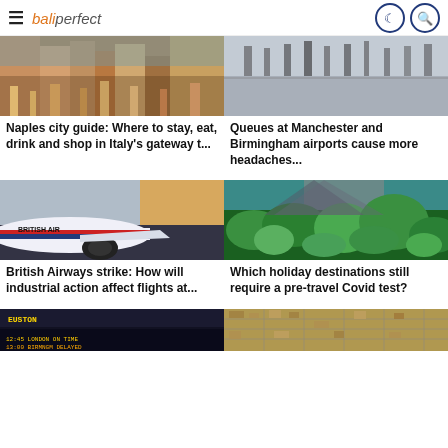baliperfect — navigation header with menu, logo, dark mode and search icons
[Figure (photo): Naples city street scene with colorful buildings]
Naples city guide: Where to stay, eat, drink and shop in Italy's gateway t...
[Figure (photo): Queues at Manchester or Birmingham airport, people on tarmac]
Queues at Manchester and Birmingham airports cause more headaches...
[Figure (photo): British Airways aircraft on ground at sunset]
British Airways strike: How will industrial action affect flights at...
[Figure (photo): Tropical mountain destination with lush green vegetation]
Which holiday destinations still require a pre-travel Covid test?
[Figure (photo): Train station departure board with yellow text]
[Figure (photo): Aerial view of city streets and buildings]